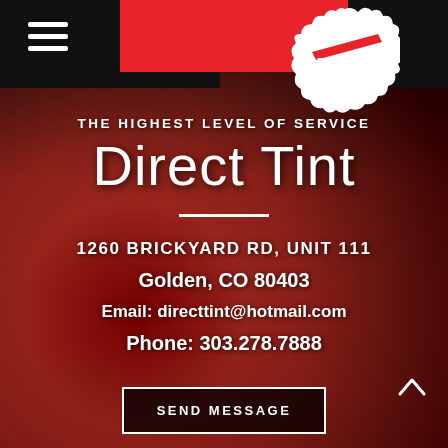[Figure (logo): DTG logo — white ink splat shape on black background with 'DTG' text in white, red diagonal stripe through it]
THE HIGHEST LEVEL OF SERVICE
Direct Tint
1260 BRICKYARD RD, UNIT 111
Golden, CO 80403
Email: directtint@hotmail.com
Phone: 303.278.7888
SEND MESSAGE